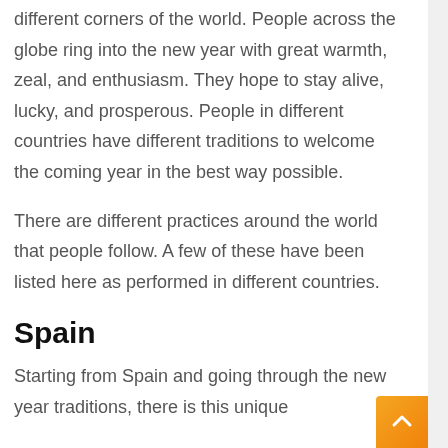different corners of the world. People across the globe ring into the new year with great warmth, zeal, and enthusiasm. They hope to stay alive, lucky, and prosperous. People in different countries have different traditions to welcome the coming year in the best way possible.
There are different practices around the world that people follow. A few of these have been listed here as performed in different countries.
Spain
Starting from Spain and going through the new year traditions, there is this unique